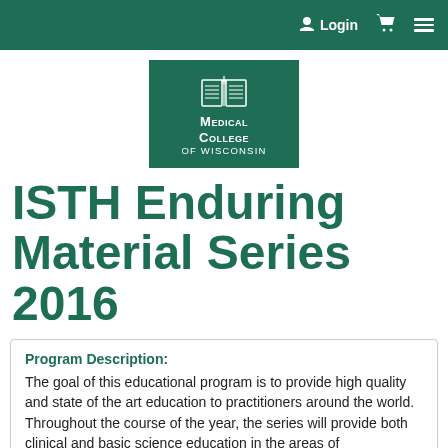Login
[Figure (logo): Medical College of Wisconsin logo — white book icon with caduceus on dark green background, text reads MEDICAL COLLEGE OF WISCONSIN]
ISTH Enduring Material Series 2016
Program Description:
The goal of this educational program is to provide high quality and state of the art education to practitioners around the world. Throughout the course of the year, the series will provide both clinical and basic science education in the areas of